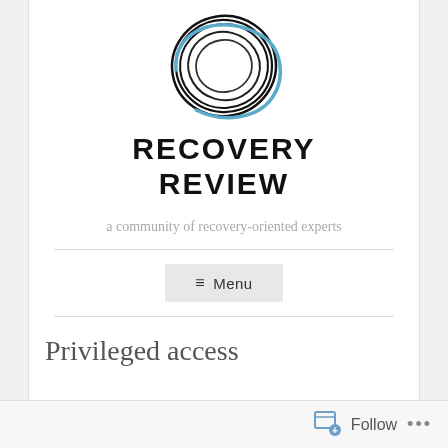[Figure (logo): Recovery Review logo: concentric circular swoosh lines in black and blue, above the bold text RECOVERY REVIEW]
RECOVERY REVIEW
a community of recovery-oriented experts
≡ Menu
Privileged access
Follow ...